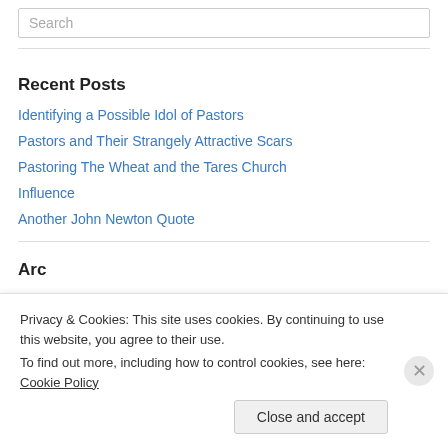Search
Recent Posts
Identifying a Possible Idol of Pastors
Pastors and Their Strangely Attractive Scars
Pastoring The Wheat and the Tares Church
Influence
Another John Newton Quote
Archives
Privacy & Cookies: This site uses cookies. By continuing to use this website, you agree to their use. To find out more, including how to control cookies, see here: Cookie Policy
Close and accept